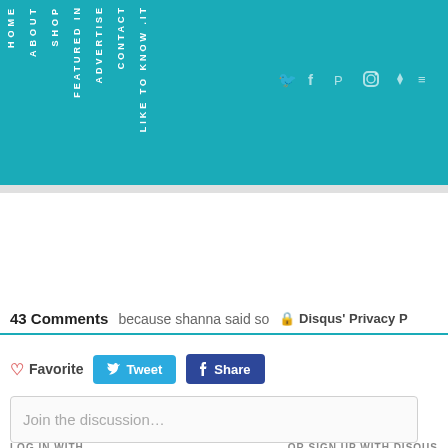[Figure (screenshot): Teal navigation header with vertical text menu items: HOME, ABOUT, SHOP, FEATURED IN, ADVERTISE, CONTACT, LIKE TO KNOW IT. Social media icons on the right side (Twitter, Facebook, Pinterest, Instagram, heart, RSS).]
43 Comments   because shanna said so   🔒 Disqus' Privacy P
♡ Favorite   Tweet   f Share
Join the discussion…
LOG IN WITH   OR SIGN UP WITH DISQUS